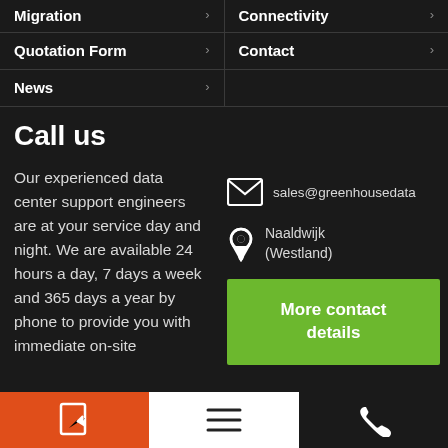Migration >
Connectivity >
Quotation Form >
Contact >
News >
Call us
Our experienced data center support engineers are at your service day and night. We are available 24 hours a day, 7 days a week and 365 days a year by phone to provide you with immediate on-site
sales@greenhousedata
Naaldwijk (Westland)
More contact details